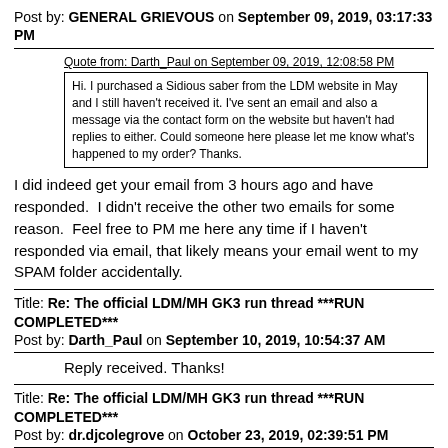Post by: GENERAL GRIEVOUS on September 09, 2019, 03:17:33 PM
Quote from: Darth_Paul on September 09, 2019, 12:08:58 PM
Hi. I purchased a Sidious saber from the LDM website in May and I still haven't received it. I've sent an email and also a message via the contact form on the website but haven't had replies to either. Could someone here please let me know what's happened to my order? Thanks.
I did indeed get your email from 3 hours ago and have responded.  I didn't receive the other two emails for some reason.  Feel free to PM me here any time if I haven't responded via email, that likely means your email went to my SPAM folder accidentally.
Title: Re: The official LDM/MH GK3 run thread ***RUN COMPLETED***
Post by: Darth_Paul on September 10, 2019, 10:54:37 AM
Reply received. Thanks!
Title: Re: The official LDM/MH GK3 run thread ***RUN COMPLETED***
Post by: dr.djcolegrove on October 23, 2019, 02:39:51 PM
Now that we are getting closer to the year's end and the CFX has been out for awhile, are there any updates on the run's progress? Thanks!